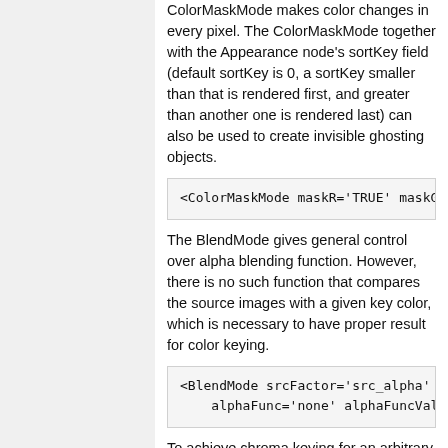ColorMaskMode makes color changes in every pixel. The ColorMaskMode together with the Appearance node's sortKey field (default sortKey is 0, a sortKey smaller than that is rendered first, and greater than another one is rendered last) can also be used to create invisible ghosting objects.
<ColorMaskMode maskR='TRUE' maskG='
The BlendMode gives general control over alpha blending function. However, there is no such function that compares the source images with a given key color, which is necessary to have proper result for color keying.
<BlendMode srcFactor='src_alpha' de
    alphaFunc='none' alphaFuncValue='0
To achieve chroma keying for an arbitrary color, you can e.g. use a user defined shader that discards all fragments whose color is equal to the given one.